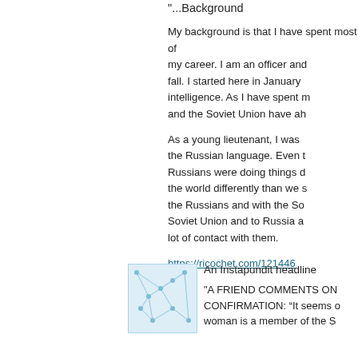"...Background
My background is that I have spent most of my career. I am an officer and fall. I started here in January intelligence. As I have spent m and the Soviet Union have ah
As a young lieutenant, I was the Russian language. Even t Russians were doing things d the world differently than we s the Russians and with the So Soviet Union and to Russia a lot of contact with them.
https://ricochet.com/121446
An Instapundit headline
"A FRIEND COMMENTS ON CONFIRMATION: “It seems o woman is a member of the S